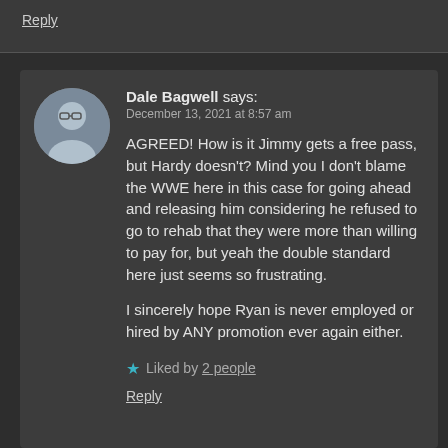Reply
Dale Bagwell says:
December 13, 2021 at 8:57 am
AGREED! How is it Jimmy gets a free pass, but Hardy doesn't? Mind you I don't blame the WWE here in this case for going ahead and releasing him considering he refused to go to rehab that they were more than willing to pay for, but yeah the double standard here just seems so frustrating.
I sincerely hope Ryan is never employed or hired by ANY promotion ever again either.
Liked by 2 people
Reply